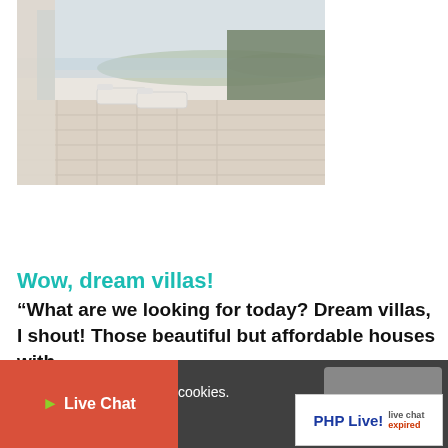[Figure (photo): Architectural rendering of a villa terrace/patio with lounge chairs, paving stones, green hedge, and sea/sky view in background. Interior sliding glass door visible on left.]
Wow, dream villas!
“What are we looking for today? Dream villas, I shout! Those beautiful but affordable houses with
cookies.
Live Chat
[Figure (logo): PHP Live! live chat expired badge]
I AGREE